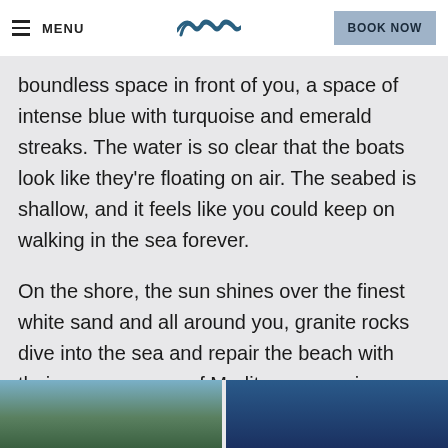MENU | [logo] | BOOK NOW
boundless space in front of you, a space of intense blue with turquoise and emerald streaks. The water is so clear that the boats look like they're floating on air. The seabed is shallow, and it feels like you could keep on walking in the sea forever.
On the shore, the sun shines over the finest white sand and all around you, granite rocks dive into the sea and repair the beach with their green crowns of Mediterranean vines.
[Figure (photo): Two photos side by side: left shows a coastal landscape with mountains and blue sky, right shows a deep blue sea/sky scene.]